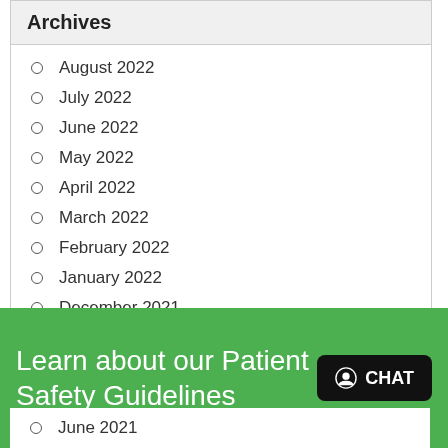Archives
August 2022
July 2022
June 2022
May 2022
April 2022
March 2022
February 2022
January 2022
December 2021
November 2021
October 2021
Learn about our Patient Safety Guidelines
June 2021